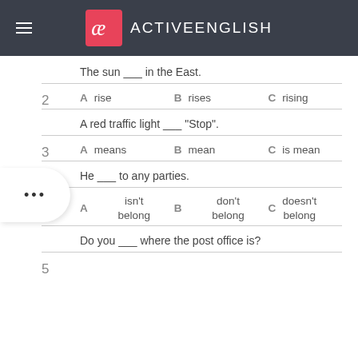ACTIVEENGLISH
The sun ___ in the East.
2  A  rise  B  rises  C  rising
A red traffic light ___ "Stop".
3  A  means  B  mean  C  is mean
He ___ to any parties.
4  A  isn't belong  B  don't belong  C  doesn't belong
Do you ___ where the post office is?
5